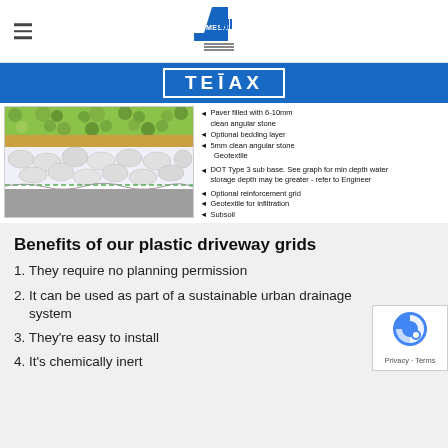[Figure (logo): 4MESH logo — blue stylized '4' with 'MESH' text and barcode-like lines]
[Figure (logo): TENAX logo in white text on blue banner with rectangular border]
[Figure (engineering-diagram): Cross-section diagram of plastic driveway grid installation showing layers: paver filled with 6-10mm clean angular stone, optional bedding layer, 5mm clean angular stone, Geotextile, DOT Type 3 sub base (see graph for min depth, water storage depth may be greater - refer to Engineer), Optional reinforcement grid, Geotextile for infiltration, Subsoil]
Benefits of our plastic driveway grids
1. They require no planning permission
2. It can be used as part of a sustainable urban drainage system
3. They're easy to install
4. It's chemically inert